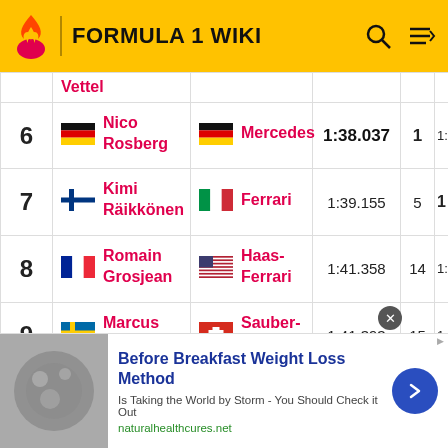FORMULA 1 WIKI
| Pos | Driver | Team | Time | Laps |  |
| --- | --- | --- | --- | --- | --- |
| (5) | Vettel |  |  |  |  |
| 6 | Nico Rosberg [Germany] | Mercedes [Germany] | 1:38.037 | 1 | 1: |
| 7 | Kimi Räikkönen [Finland] | Ferrari [Italy] | 1:39.155 | 5 | 1 |
| 8 | Romain Grosjean [France] | Haas-Ferrari [USA] | 1:41.358 | 14 | 1: |
| 9 | Marcus Ericsson [Sweden] | Sauber-Ferrari [Switzerland] | 1:41.393 | 15 | 1: |
Before Breakfast Weight Loss Method — Is Taking the World by Storm - You Should Check it Out — naturalhealthcures.net